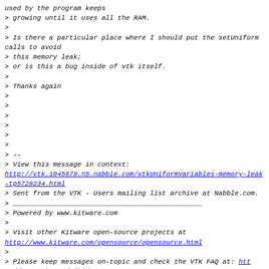used by the program keeps
> growing until it uses all the RAM.
>
> Is there a particular place where I should put the setUniform calls to avoid
> this memory leak;
> or is this a bug inside of vtk itself.
>
> Thanks again
>
>
>
>
>
>
> --
> View this message in context:
http://vtk.1045678.n5.nabble.com/vtkUniformVariables-memory-leak-tp5728234.html
> Sent from the VTK - Users mailing list archive at Nabble.com.
> _______________________________________________
> Powered by www.kitware.com
>
> Visit other Kitware open-source projects at
http://www.kitware.com/opensource/opensource.html
>
> Please keep messages on-topic and check the VTK FAQ at: http://www.vtk.org/Wiki/VTK_FAQ
>
> Follow this link to subscribe/unsubscribe: